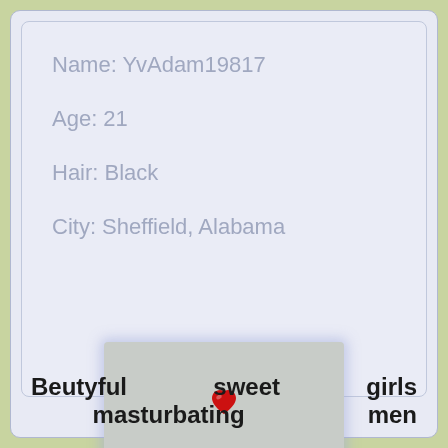Name: YvAdam19817
Age: 21
Hair: Black
City: Sheffield, Alabama
[Figure (illustration): A grey rectangular box with a small red heart icon in the center, with a soft blue glow/shadow around it]
Beutyful sweet girls masturbating men